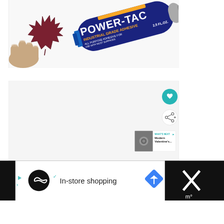[Figure (photo): A hand holding a dark red maple leaf-shaped piece next to a blue tube of Power-Tac Industrial Grade Adhesive, 2.5 fl oz, on a white surface.]
[Figure (screenshot): Lower portion of a webpage with a white content area. A teal circular like/heart button and a white circular share button are visible on the right side. A 'WHAT'S NEXT' card shows a thumbnail and the title 'Modern Valentine's...' in teal/dark text.]
[Figure (screenshot): A bottom ad bar on a dark background showing a white panel with a circular logo, a checkmark, the text 'In-store shopping', and a blue diamond navigation icon, plus an X close button on the right.]